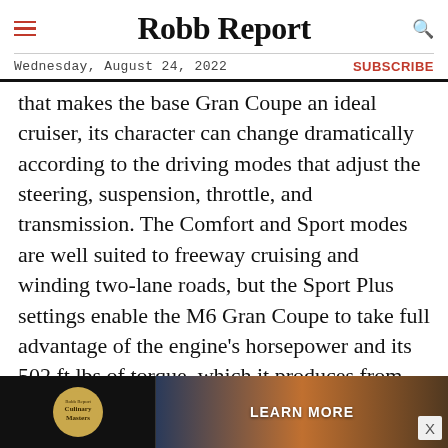Robb Report
Wednesday, August 24, 2022 | SUBSCRIBE
that makes the base Gran Coupe an ideal cruiser, its character can change dramatically according to the driving modes that adjust the steering, suspension, throttle, and transmission. The Comfort and Sport modes are well suited to freeway cruising and winding two-lane roads, but the Sport Plus settings enable the M6 Gran Coupe to take full advantage of the engine's horsepower and its 502 ft lbs of torque, which it produces from 1,500 rpm to 5,750 rpm. With separate buttons for the steering, throttle, suspension, and transmission inputs, setting the
[Figure (other): Advertisement banner for Robb Report Culinary Masters with a 'Learn More' button and a background of a sunset/beach scene.]